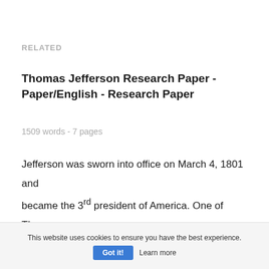RELATED
Thomas Jefferson Research Paper - Paper/English - Research Paper
1509 words - 7 pages
Jefferson was sworn into office on March 4, 1801 and became the 3rd president of America. One of Thomas Jefferson's significant achievements was the Louisiana Purchase. The Mississippi Valley to the Rocky Mountains land was owned by the French
This website uses cookies to ensure you have the best experience. Got it! Learn more